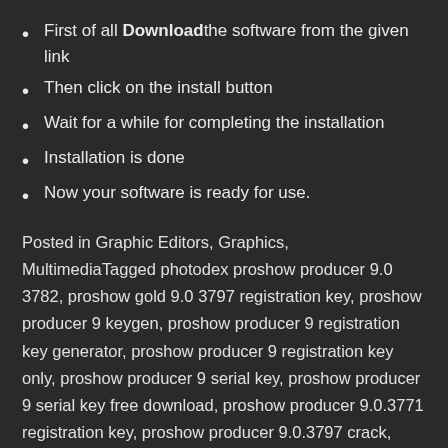First of all Download the software from the given link
Then click on the install button
Wait for a while for completing the installation
Installation is done
Now your software is ready for use.
Posted in Graphic Editors, Graphics, MultimediaTagged photodex proshow producer 9.0 3782, proshow gold 9.0 3797 registration key, proshow producer 9 keygen, proshow producer 9 registration key generator, proshow producer 9 registration key only, proshow producer 9 serial key, proshow producer 9 serial key free download, proshow producer 9.0.3771 registration key, proshow producer 9.0.3797 crack, proshow producer 9.0.3797 crack download, proshow producer 9.0.3797 crack with keygen free download, proshow producer 9.0.3797 patch,